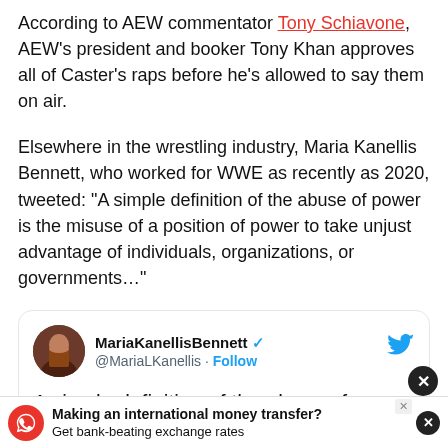According to AEW commentator Tony Schiavone, AEW's president and booker Tony Khan approves all of Caster's raps before he's allowed to say them on air.
Elsewhere in the wrestling industry, Maria Kanellis Bennett, who worked for WWE as recently as 2020, tweeted: "A simple definition of the abuse of power is the misuse of a position of power to take unjust advantage of individuals, organizations, or governments…"
[Figure (screenshot): Embedded tweet from @MariaLKanellis (MariaKanellisBennett) reading: 'A simple definition of the abuse of power is the misuse of a position of power to take unjust advantage of individuals, organizations, or governments…' Posted at 9:53 PM.]
[Figure (infographic): Advertisement bar: 'Making an international money transfer? Get bank-beating exchange rates' with red eagle logo.]